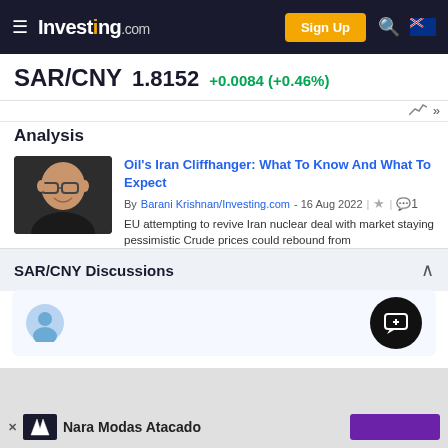Investing.com — Sign Up
SAR/CNY 1.8152 +0.0084 (+0.46%)
Analysis
[Figure (photo): Headshot photo of Barani Krishnan, a man with glasses smiling]
Oil's Iran Cliffhanger: What To Know And What To Expect
By Barani Krishnan/Investing.com - 16 Aug 2022 | ★ | 💬1
EU attempting to revive Iran nuclear deal with market staying pessimistic Crude prices could rebound from
SAR/CNY Discussions
[Figure (illustration): User avatar icon (blue circle with person silhouette) and a black circular chat FAB button with add-comment icon]
Nara Modas Atacado [advertisement]